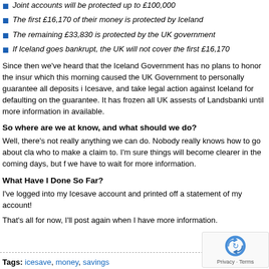Joint accounts will be protected up to £100,000
The first £16,170 of their money is protected by Iceland
The remaining £33,830 is protected by the UK government
If Iceland goes bankrupt, the UK will not cover the first £16,170
Since then we've heard that the Iceland Government has no plans to honor the insur which this morning caused the UK Government to personally guarantee all deposits i Icesave, and take legal action against Iceland for defaulting on the guarantee. It has frozen all UK assests of Landsbanki until more information in available.
So where are we at know, and what should we do?
Well, there's not really anything we can do. Nobody really knows how to go about cla who to make a claim to. I'm sure things will become clearer in the coming days, but f we have to wait for more information.
What Have I Done So Far?
I've logged into my Icesave account and printed off a statement of my account!
That's all for now, I'll post again when I have more information.
Tags: icesave, money, savings